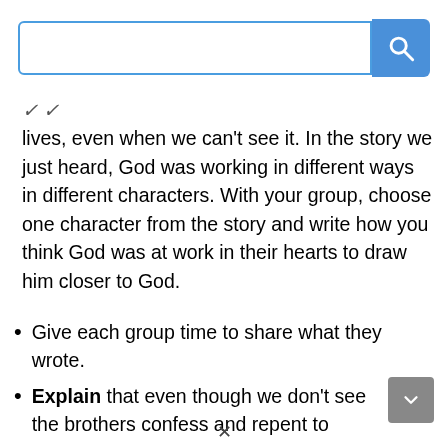[Figure (screenshot): Search bar with text input field and blue search button with magnifying glass icon]
lives, even when we can't see it. In the story we just heard, God was working in different ways in different characters. With your group, choose one character from the story and write how you think God was at work in their hearts to draw him closer to God.
Give each group time to share what they wrote.
Explain that even though we don't see the brothers confess and repent to